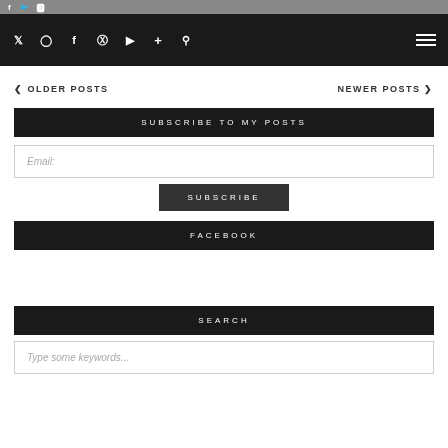Twitter Instagram Facebook Pinterest YouTube Add Search [hamburger menu]
< OLDER POSTS    NEWER POSTS >
SUBSCRIBE TO MY POSTS
Email:
SUBSCRIBE
FACEBOOK
SEARCH
Type some keywords...